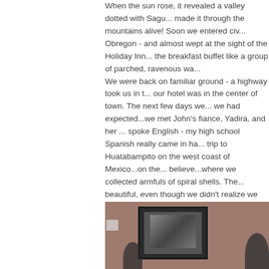When the sun rose, it revealed a valley dotted with Sagu... made it through the mountains alive! Soon we entered civ... Obregon - and almost wept at the sight of the Holiday Inn... the breakfast buffet like a group of parched, ravenous wa...
We were back on familiar ground - a highway took us in t... our hotel was in the center of town. The next few days we... we had expected...we met John's fiance, Yadira, and her ... spoke English - my high school Spanish really came in ha... trip to Huatabampito on the west coast of Mexico...on the... believe...where we collected armfuls of spiral shells. The... beautiful, even though we didn't realize we wouldn't eat u... starving!  The next day we traveled back into the mountai... Alamos, a colonial Mexico town, all decked out for the ho... the cathedral, explored some shops and enjoyed our Chri... dinner there before heading back into Huatabampo for Ma...
[Figure (photo): Indoor photo showing a room with pinkish-tan walls, a framed picture/artwork on the wall depicting a scene with palm trees, and silhouettes of people at the bottom.]